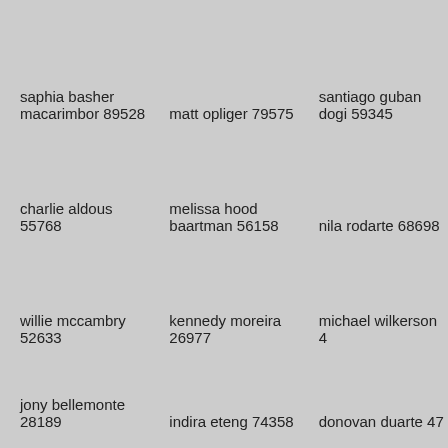saphia basher macarimbor 89528
matt opliger 79575
santiago guban dogi 59345
charlie aldous 55768
melissa hood baartman 56158
nila rodarte 68698
willie mccambry 52633
kennedy moreira 26977
michael wilkerson 4…
jony bellemonte 28189
indira eteng 74358
donovan duarte 47…